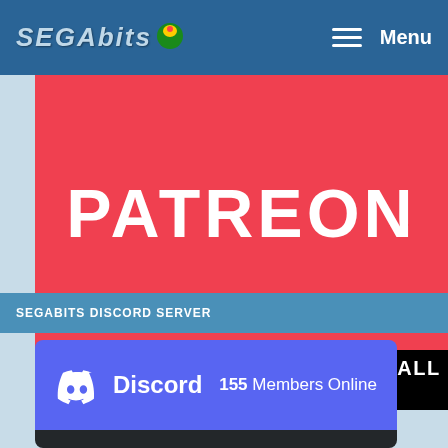SEGABITS Menu
[Figure (illustration): PATREON text on red background banner]
EARLY ACCESS | EXCLUSIVES | ALL OUR LOVE
SEGABITS DISCORD SERVER
[Figure (infographic): Discord widget showing 155 Members Online]